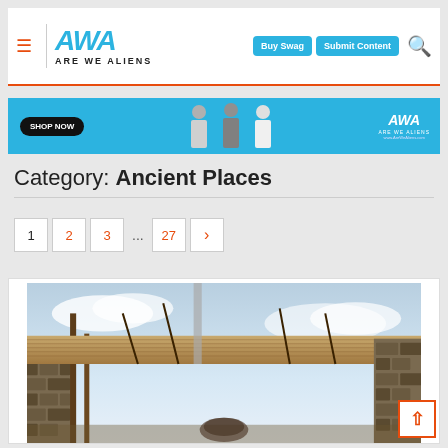ARE WE ALIENS — Buy Swag | Submit Content
[Figure (screenshot): Are We Aliens website header with hamburger menu, AWA logo, Buy Swag and Submit Content navigation buttons, and search icon]
[Figure (screenshot): Are We Aliens shop advertisement banner with SHOP NOW button, people wearing AWA merchandise, and AWA logo]
Category: Ancient Places
Pagination: 1 2 3 ... 27 >
[Figure (photo): Ancient structure with thatched roof made of straw/hay, stone pillars/walls, and wooden framework against a cloudy sky background]